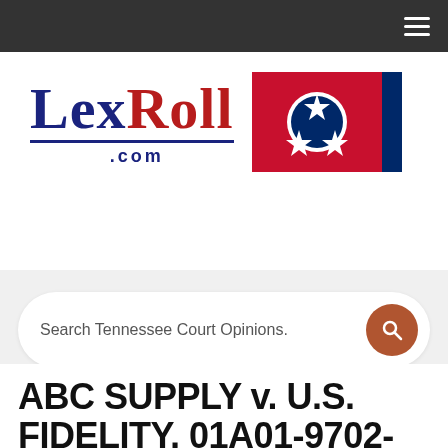Navigation bar with hamburger menu
[Figure (logo): LexRoll.com logo with Tennessee state flag]
Search Tennessee Court Opinions.
ABC SUPPLY v. U.S. FIDELITY, 01A01-9702-CH-00081 (Tenn.App. 10-10-1997)